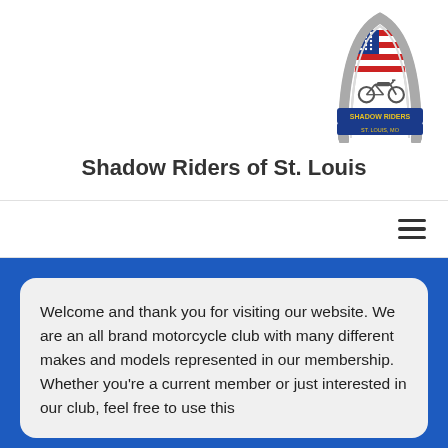[Figure (logo): Shadow Riders of St. Louis motorcycle club logo: Gateway Arch with American flag and motorcycle, banner reading SHADOW RIDERS ST. LOUIS, MO]
Shadow Riders of St. Louis
[Figure (other): Hamburger/menu icon with three horizontal lines]
Welcome and thank you for visiting our website. We are an all brand motorcycle club with many different makes and models represented in our membership.  Whether you're a current member or just interested in our club, feel free to use this